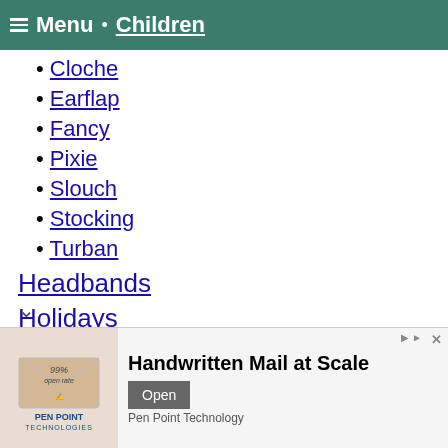Menu • Children
Cloche
Earflap
Fancy
Pixie
Slouch
Stocking
Turban
Headbands
Holidays
Christmas
[Figure (infographic): Advertisement banner for Pen Point Technologies showing handwritten mail envelope with text '99% open rate' and 'Handwritten Mail at Scale' with Open button]